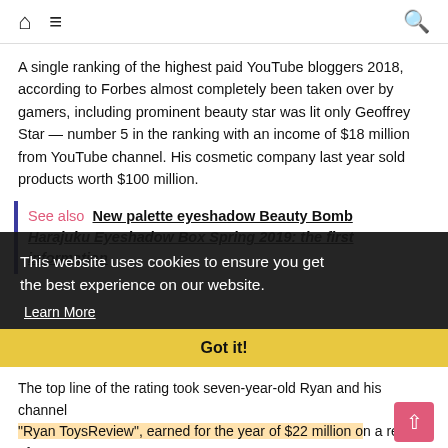Navigation bar with home icon, menu icon, and search icon
A single ranking of the highest paid YouTube bloggers 2018, according to Forbes almost completely been taken over by gamers, including prominent beauty star was lit only Geoffrey Star — number 5 in the ranking with an income of $18 million from YouTube channel. His cosmetic company last year sold products worth $100 million.
See also  New palette eyeshadow Beauty Bomb Harajuku Eyeshadow Box Spring 2019: the first information
This website uses cookies to ensure you get the best experience on our website.
Learn More
Got it!
The top line of the rating took seven-year-old Ryan and his channel "Ryan ToysReview", earned for the year of $22 million on a review of toys and carefree pastime. Since the formation of the channel in 2015, he scored more than 17 million subscribers and 26 billion hits ????